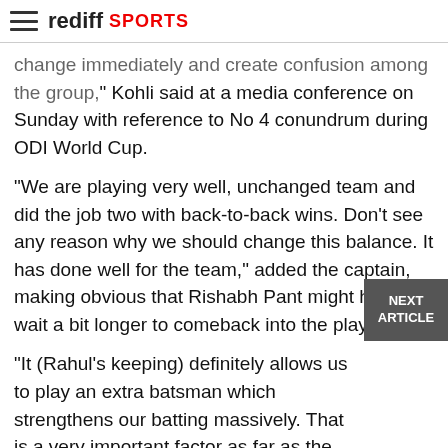rediff SPORTS
change immediately and create confusion among the group," Kohli said at a media conference on Sunday with reference to No 4 conundrum during ODI World Cup.
"We are playing very well, unchanged team and did the job two with back-to-back wins. Don't see any reason why we should change this balance. It has done well for the team," added the captain, making obvious that Rishabh Pant might have to wait a bit longer to comeback into the playing XI.
"It (Rahul's keeping) definitely allows us to play an extra batsman which strengthens our batting massively. That is a very important factor as far as the team balance is concerned," he said.
"If you look at the 2003 World Cup when Rahul bhai started keeping, the balance became different because you could play an extra batter and guys at the top could really play positive cricket," Kohli said referring to the India's runners-up showing in 2003.
Rahul batted at No 3 in the series opener, at No 5 in